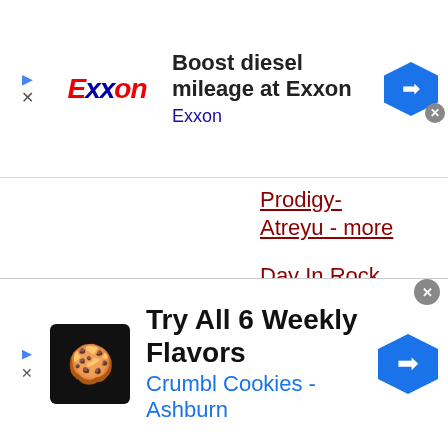[Figure (screenshot): Exxon advertisement banner: 'Boost diesel mileage at Exxon' with Exxon logo and navigation arrow icon]
Prodigy- Atreyu - more
Day In Rock 7/08: OutKast Ad Outrage- Vines Break Down?- Metallica Killer Execution Blocked- Axl Loses Demo Suit- Jack
[Figure (screenshot): Crumbl Cookies advertisement banner: 'Try All 6 Weekly Flavors Crumbl Cookies - Ashburn' with cookie logo and navigation arrow icon]